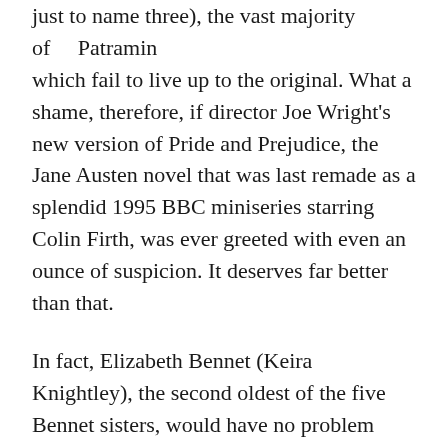just to name three), the vast majority of which fail to live up to the original. What a shame, therefore, if director Joe Wright's new version of Pride and Prejudice, the Jane Austen novel that was last remade as a splendid 1995 BBC miniseries starring Colin Firth, was ever greeted with even an ounce of suspicion. It deserves far better than that.
In fact, Elizabeth Bennet (Keira Knightley), the second oldest of the five Bennet sisters, would have no problem telling you that herself. She's ahead of her Victorian times as an elegant, yet proud young lady from a middle-class family who never shies from repartee, especially with the rich and dashing Mr Darcy (Matthew MacFadyen).
A woman's survival, and even that of her family, depended completely on the wealth of her future